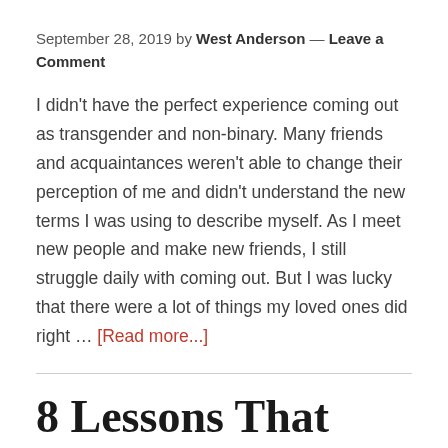September 28, 2019 by West Anderson — Leave a Comment
I didn't have the perfect experience coming out as transgender and non-binary. Many friends and acquaintances weren't able to change their perception of me and didn't understand the new terms I was using to describe myself. As I meet new people and make new friends, I still struggle daily with coming out. But I was lucky that there were a lot of things my loved ones did right … [Read more...]
8 Lessons That Show How Emotional